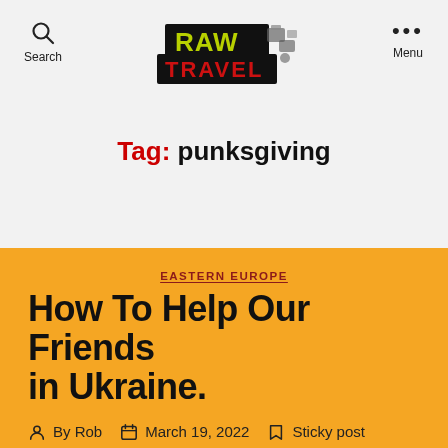Raw Travel — Search | Menu
[Figure (logo): Raw Travel logo with bold black and red text, 'RAW' in yellow-green on black, 'TRAVEL' in red on black, with illustrated travel icons]
Tag: punksgiving
EASTERN EUROPE
How To Help Our Friends in Ukraine.
By Rob   March 19, 2022   Sticky post